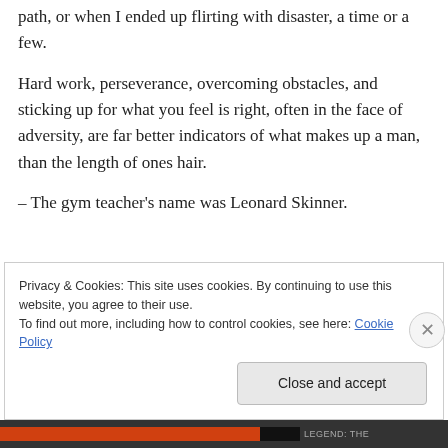path, or when I ended up flirting with disaster, a time or a few.
Hard work, perseverance, overcoming obstacles, and sticking up for what you feel is right, often in the face of adversity, are far better indicators of what makes up a man, than the length of ones hair.
– The gym teacher's name was Leonard Skinner.
Privacy & Cookies: This site uses cookies. By continuing to use this website, you agree to their use.
To find out more, including how to control cookies, see here: Cookie Policy